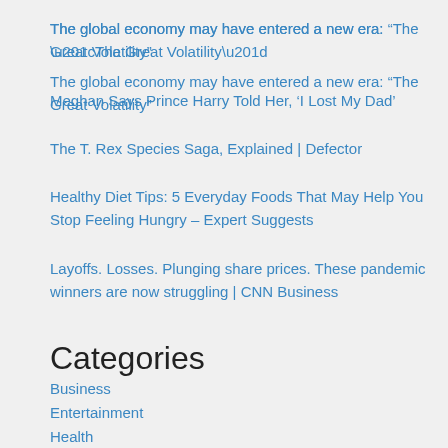The global economy may have entered a new era: “The Great Volatility”
Meghan Says Prince Harry Told Her, ‘I Lost My Dad’
The T. Rex Species Saga, Explained | Defector
Healthy Diet Tips: 5 Everyday Foods That May Help You Stop Feeling Hungry – Expert Suggests
Layoffs. Losses. Plunging share prices. These pandemic winners are now struggling | CNN Business
Categories
Business
Entertainment
Health